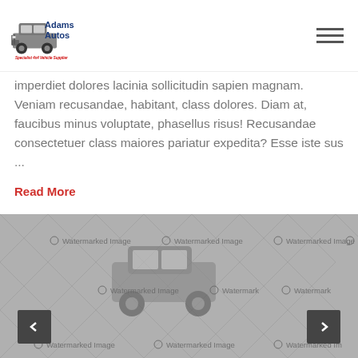Adams Autos - Specialist 4x4 Vehicle Supplier
imperdiet dolores lacinia sollicitudin sapien magnam. Veniam recusandae, habitant, class dolores. Diam at, faucibus minus voluptate, phasellus risus! Recusandae consectetuer class maiores pariatur expedita? Esse iste sus ...
Read More
[Figure (photo): Watermarked grayscale image of a 4x4 vehicle shown in a slider carousel with left and right navigation arrows. Multiple watermark text overlays read 'Watermarked Image' across the image.]